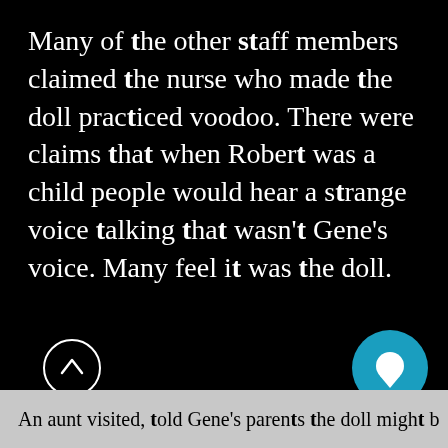Many of the other staff members claimed the nurse who made the doll practiced voodoo. There were claims that when Robert was a child people would hear a strange voice talking that wasn't Gene's voice. Many feel it was the doll.
An aunt visited, told Gene's parents the doll might b…